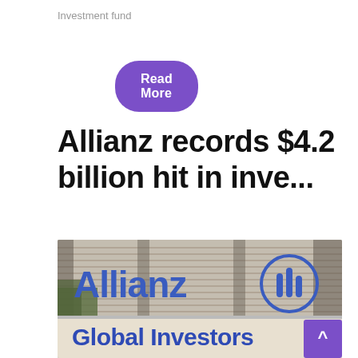Investment fund
Read More
Allianz records $4.2 billion hit in inve...
[Figure (photo): Allianz Global Investors building exterior with large blue Allianz logo and 'Global Investors' text on a sign, building facade with horizontal blinds in background. A purple scroll-up button visible in the corner.]